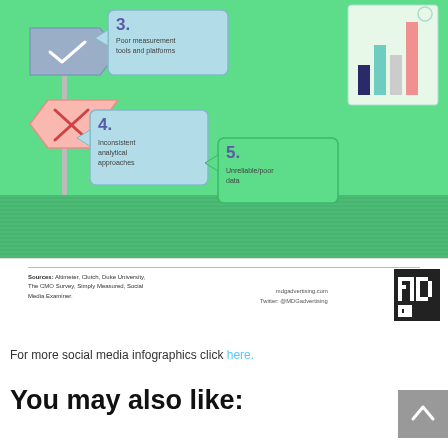[Figure (infographic): Infographic section showing numbered obstacles to measuring social ROI: item 3 Poor measurement tools and platforms, item 4 Inconsistent analytical approaches, item 5 Unreliable/poor data, with sign-post icons and a bar chart graphic on the right side. Green background with teal/blue speech-bubble boxes.]
Ultimately, there's no silver bullet for making the process simple. However, it's absolutely possible for every firm to measure social ROI with the right investment in staff, analytics platforms, and data. Getting your approach right will take time and effort, but the ability to accurately track impact is worth it in the long run.
Sources: Altimeter, Clutch, Duke University, The CMO Survey, Simply Measured, Social Media Examiner.
For more social media infographics click here.
You may also like: